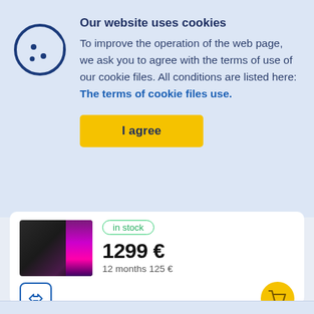Our website uses cookies
To improve the operation of the web page, we ask you to agree with the terms of use of our cookie files. All conditions are listed here: The terms of cookie files use.
I agree
[Figure (photo): iPhone 14 Pro Max in space black/dark purple color, product shot showing front and back]
in stock
1299 €
12 months 125 €